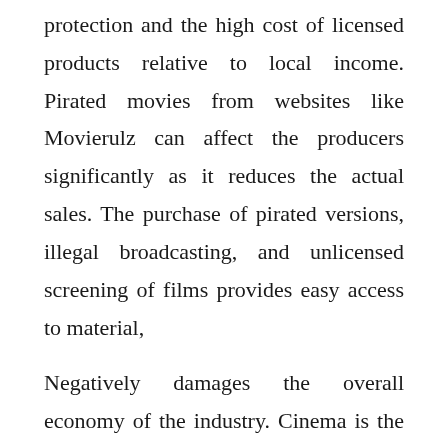protection and the high cost of licensed products relative to local income. Pirated movies from websites like Movierulz can affect the producers significantly as it reduces the actual sales. The purchase of pirated versions, illegal broadcasting, and unlicensed screening of films provides easy access to material,
Negatively damages the overall economy of the industry. Cinema is the latest form of art as well as a source of joy. Such creative arts benefit both the creator and the state financially, as a substantial amount of money and profit is accumulated. On the other hand, piracy is becoming a concern in India. As